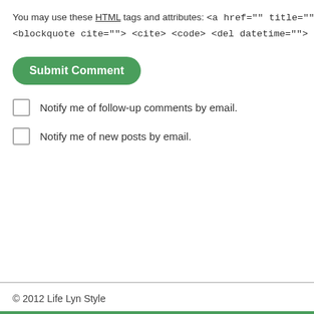You may use these HTML tags and attributes: <a href="" title=""> <abl <blockquote cite=""> <cite> <code> <del datetime=""> <em> <
[Figure (other): Green rounded Submit Comment button]
Notify me of follow-up comments by email.
Notify me of new posts by email.
← Orchid Mania at the Cleveland Botanical Gardens
© 2012 Life Lyn Style